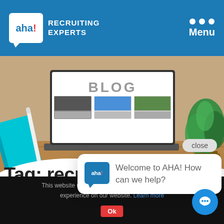[Figure (screenshot): AHA! Recruiting Experts website header with blue background, logo on left, three-dot menu and Menu label on right]
[Figure (photo): Laptop on wooden desk showing blog website, with notebook, pen and plant in background]
Tag: recr
[Figure (screenshot): Chat popup with AHA logo and message: Welcome to AHA! How can we help? with close button above]
This website uses cookies to ensure you get the best experience on our website. Learn more
[Figure (screenshot): Ok button and chat bubble icon button at bottom]